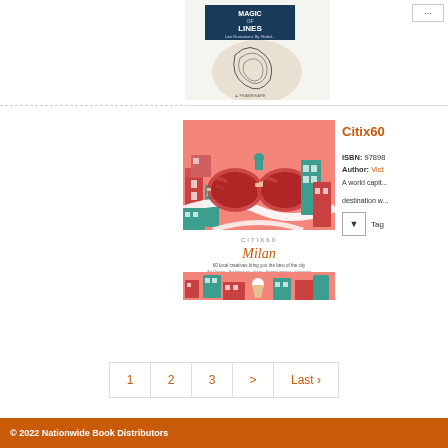[Figure (illustration): Book cover for 'Magic of Lines' showing line illustrations, partially visible at top]
[Figure (illustration): Book cover for Citix60 Milan showing illustrated city map with colorful buildings and a large pair of sunglasses, teal and coral/red color scheme]
Citix60
ISBN: 97898...
Author: Vict...
A world capit... destination w...
Tag
1  2  3  >  Last ›
© 2022 Nationwide Book Distributors